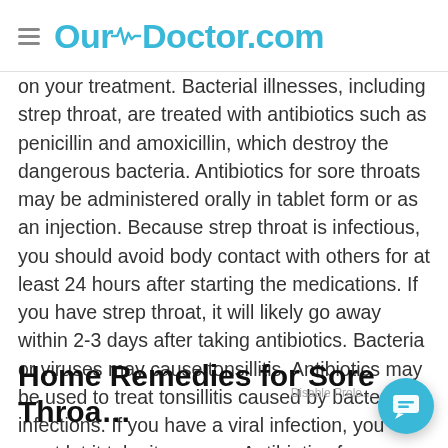OurDoctor.com
on your treatment. Bacterial illnesses, including strep throat, are treated with antibiotics such as penicillin and amoxicillin, which destroy the dangerous bacteria. Antibiotics for sore throats may be administered orally in tablet form or as an injection. Because strep throat is infectious, you should avoid body contact with others for at least 24 hours after starting the medications. If you have strep throat, it will likely go away within 2-3 days after taking antibiotics. Bacteria or viruses may cause tonsillitis. Antibiotics may be used to treat tonsillitis caused by bacterial infections. If you have a viral infection, you must let it take its course. Antibiotics for sore throats only work against bacterial infections, so they won't help with viral tonsillitis or other diseases like the flu.
Home Remedies for Sore Throa…
Inflammation may also be a problem with some medications or